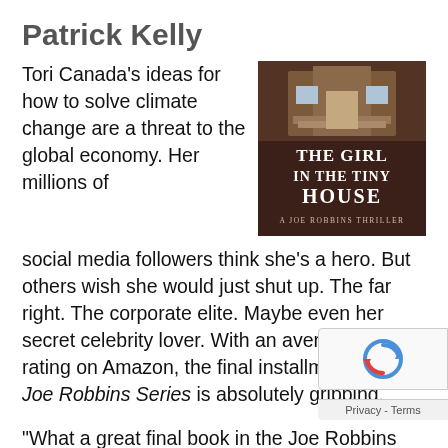Patrick Kelly
[Figure (illustration): Book cover for 'The Girl in the Tiny House: A Joe Robbins Thriller' showing a small house exterior with text overlay]
Tori Canada's ideas for how to solve climate change are a threat to the global economy. Her millions of social media followers think she's a hero. But others wish she would just shut up. The far right. The corporate elite. Maybe even her secret celebrity lover. With an average 4.8 star rating on Amazon, the final installment of The Joe Robbins Series is absolutely gripping.
“What a great final book in the Joe Robbins series!” says TMB in their 5-star review. “The author cleverly mixes thrills with insight on current social issues such as climate change and gun control. And as an Austinite, all of the local references just add to